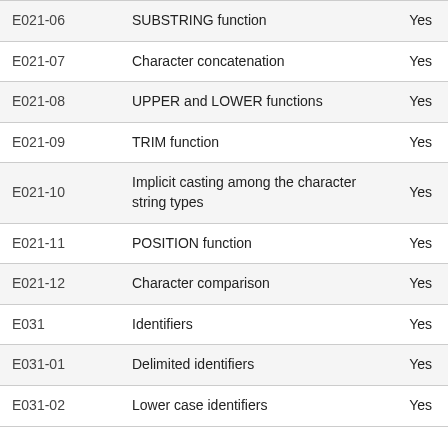| E021-06 | SUBSTRING function | Yes |
| E021-07 | Character concatenation | Yes |
| E021-08 | UPPER and LOWER functions | Yes |
| E021-09 | TRIM function | Yes |
| E021-10 | Implicit casting among the character string types | Yes |
| E021-11 | POSITION function | Yes |
| E021-12 | Character comparison | Yes |
| E031 | Identifiers | Yes |
| E031-01 | Delimited identifiers | Yes |
| E031-02 | Lower case identifiers | Yes |